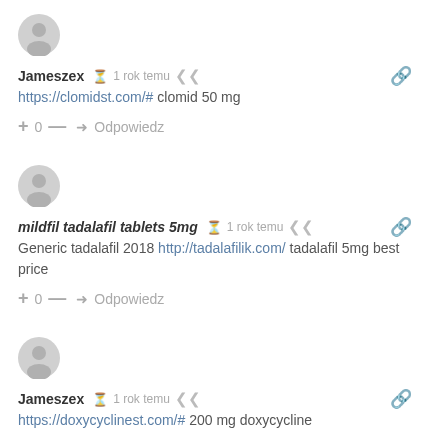[Figure (illustration): Generic user avatar icon (grey circle with person silhouette)]
Jameszex  1 rok temu
https://clomidst.com/# clomid 50 mg
+ 0 —  Odpowiedz
[Figure (illustration): Generic user avatar icon (grey circle with person silhouette)]
mildfil tadalafil tablets 5mg  1 rok temu
Generic tadalafil 2018 http://tadalafilik.com/ tadalafil 5mg best price
+ 0 —  Odpowiedz
[Figure (illustration): Generic user avatar icon (grey circle with person silhouette)]
Jameszex  1 rok temu
https://doxycyclinest.com/# 200 mg doxycycline